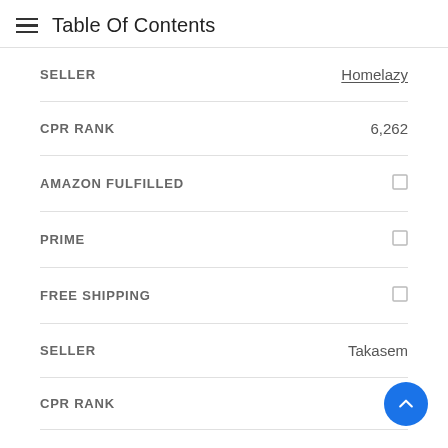Table Of Contents
| Field | Value |
| --- | --- |
| SELLER | Homelazy |
| CPR RANK | 6,262 |
| AMAZON FULFILLED | ☐ |
| PRIME | ☐ |
| FREE SHIPPING | ☐ |
| SELLER | Takasem |
| CPR RANK |  |
| AMAZON FULFILLED | ☐ |